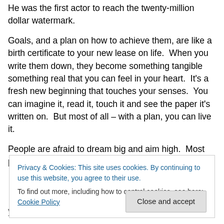He was the first actor to reach the twenty-million dollar watermark.
Goals, and a plan on how to achieve them, are like a birth certificate to your new lease on life.  When you write them down, they become something tangible something real that you can feel in your heart.  It's a fresh new beginning that touches your senses.  You can imagine it, read it, touch it and see the paper it's written on.  But most of all – with a plan, you can live it.
People are afraid to dream big and aim high.  Most people
[Figure (screenshot): Cookie consent banner with text: 'Privacy & Cookies: This site uses cookies. By continuing to use this website, you agree to their use. To find out more, including how to control cookies, see here: Cookie Policy' and a 'Close and accept' button.]
your goals and plans.  Feel the fear and do it anyway.